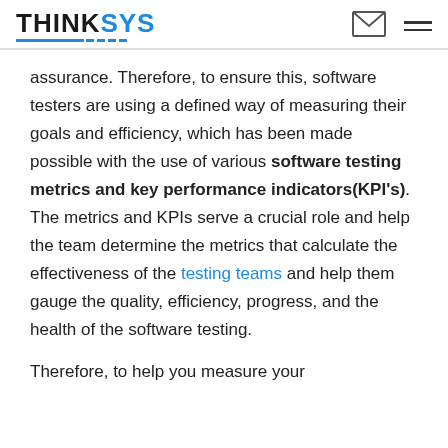THINKSYS
assurance. Therefore, to ensure this, software testers are using a defined way of measuring their goals and efficiency, which has been made possible with the use of various software testing metrics and key performance indicators(KPI's). The metrics and KPIs serve a crucial role and help the team determine the metrics that calculate the effectiveness of the testing teams and help them gauge the quality, efficiency, progress, and the health of the software testing.
Therefore, to help you measure your